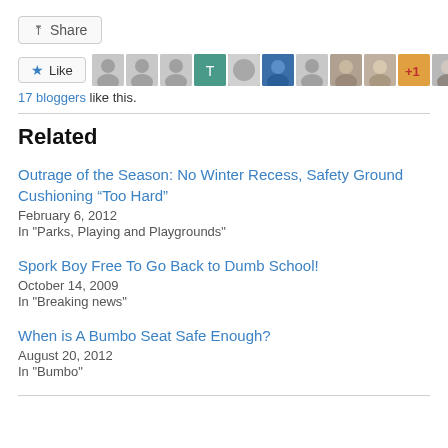Share
[Figure (other): Like button with star icon and row of 11 blogger avatar thumbnails]
17 bloggers like this.
Related
Outrage of the Season: No Winter Recess, Safety Ground Cushioning “Too Hard”
February 6, 2012
In "Parks, Playing and Playgrounds"
Spork Boy Free To Go Back to Dumb School!
October 14, 2009
In "Breaking news"
When is A Bumbo Seat Safe Enough?
August 20, 2012
In "Bumbo"